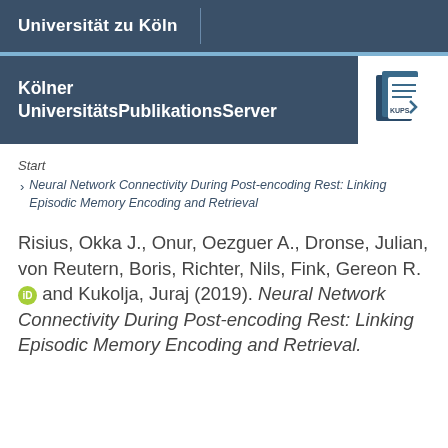Universität zu Köln
Kölner UniversitätsPublikationsServer
[Figure (logo): KUPS logo — stylized book/pages icon in teal/dark blue]
Start
Neural Network Connectivity During Post-encoding Rest: Linking Episodic Memory Encoding and Retrieval
Risius, Okka J., Onur, Oezguer A., Dronse, Julian, von Reutern, Boris, Richter, Nils, Fink, Gereon R. [ORCID] and Kukolja, Juraj (2019). Neural Network Connectivity During Post-encoding Rest: Linking Episodic Memory Encoding and Retrieval.